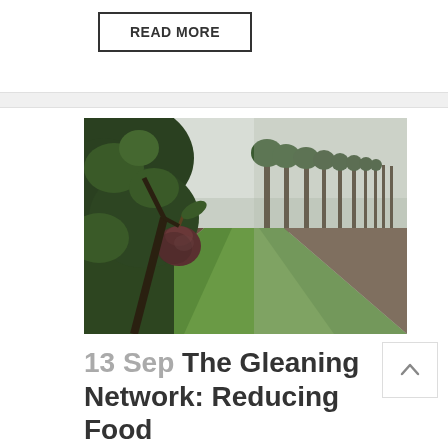READ MORE
[Figure (photo): Orchard scene with a ripe dark pear hanging from a branch on the left foreground, with rows of fruit trees receding into the background on a green grassy path.]
13 Sep The Gleaning Network: Reducing Food